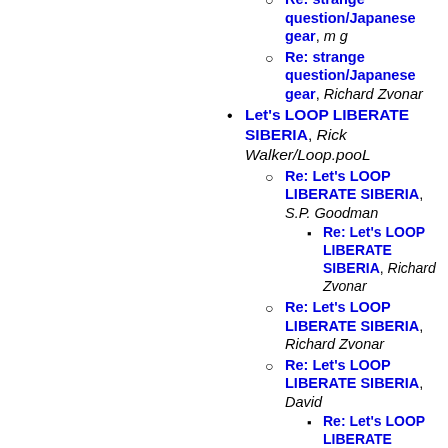Re: strange question/Japanese gear, m g
Re: strange question/Japanese gear, Richard Zvonar
Let's LOOP LIBERATE SIBERIA, Rick Walker/Loop.pooL
Re: Let's LOOP LIBERATE SIBERIA, S.P. Goodman
Re: Let's LOOP LIBERATE SIBERIA, Richard Zvonar
Re: Let's LOOP LIBERATE SIBERIA, Richard Zvonar
Re: Let's LOOP LIBERATE SIBERIA, David
Re: Let's LOOP LIBERATE SIBERIA, Richard Zvonar